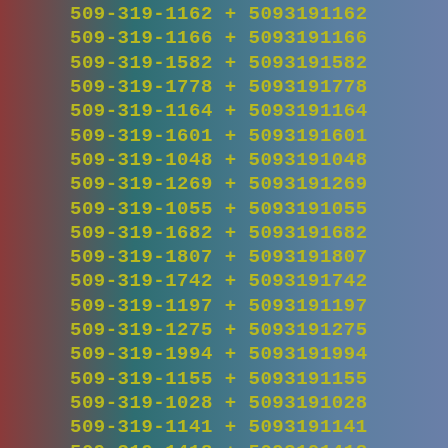509-319-1162  +  5093191162
509-319-1166  +  5093191166
509-319-1582  +  5093191582
509-319-1778  +  5093191778
509-319-1164  +  5093191164
509-319-1601  +  5093191601
509-319-1048  +  5093191048
509-319-1269  +  5093191269
509-319-1055  +  5093191055
509-319-1682  +  5093191682
509-319-1807  +  5093191807
509-319-1742  +  5093191742
509-319-1197  +  5093191197
509-319-1275  +  5093191275
509-319-1994  +  5093191994
509-319-1155  +  5093191155
509-319-1028  +  5093191028
509-319-1141  +  5093191141
509-319-1418  +  5093191418
509-319-1070  +  5093191070
509-319-1826  +  5093191826
509-319-1991  +  5093191991
509-319-1894  +  5093191894